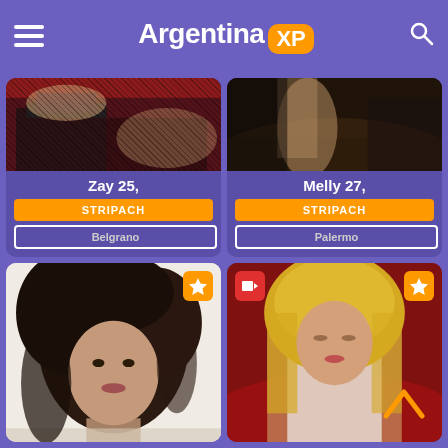ArgentinaXP
[Figure (screenshot): Card for Zay 25 - close-up photo with fishnet stockings on red background]
Zay 25,
STRIPACH
Belgrano
[Figure (screenshot): Card for Melly 27 - close-up photo with leather/dark background]
Melly 27,
STRIPACH
Palermo
[Figure (photo): Card 3 - woman with curly dark hair, light background]
[Figure (photo): Card 4 - blonde woman in white outfit on red background, with video and star badges]